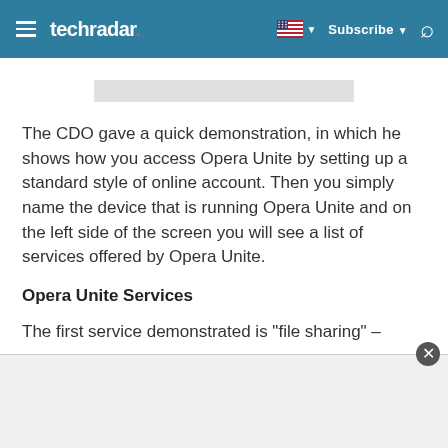techradar | Subscribe
[Figure (other): Grey placeholder/ad banner bar]
The CDO gave a quick demonstration, in which he shows how you access Opera Unite by setting up a standard style of online account. Then you simply name the device that is running Opera Unite and on the left side of the screen you will see a list of services offered by Opera Unite.
Opera Unite Services
The first service demonstrated is "file sharing" –